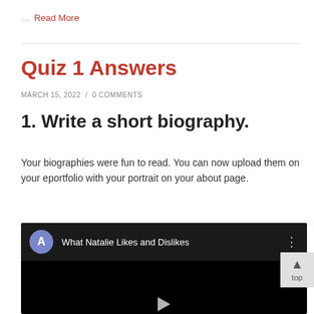… Read More
Quiz 1 Answers
MARCH 15, 2022  /  0 COMMENTS
1. Write a short biography.
Your biographies were fun to read. You can now upload them on your eportfolio with your portrait on your about page.
[Figure (screenshot): Embedded video thumbnail showing 'What Natalie Likes and Dislikes' with a dark background and a user avatar labeled A]